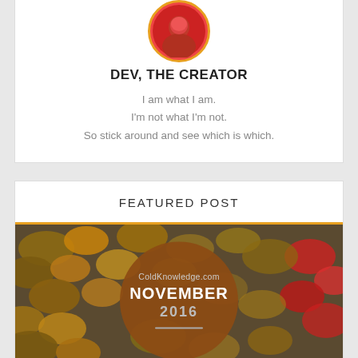[Figure (photo): Circular avatar photo of a person wearing a red shirt, with an orange/gold circular border]
DEV, THE CREATOR
I am what I am.
I'm not what I'm not.
So stick around and see which is which.
FEATURED POST
[Figure (photo): Autumn leaves background photo with a large brown circular badge overlay showing 'ColdKnowledge.com NOVEMBER 2016' with a decorative horizontal line]